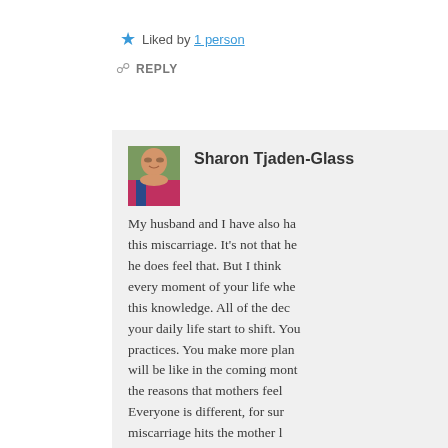★ Liked by 1 person
REPLY
Sharon Tjaden-Glass
My husband and I have also ha this miscarriage. It's not that he he does feel that. But I think every moment of your life whe this knowledge. All of the dec your daily life start to shift. You practices. You make more plan will be like in the coming mont the reasons that mothers feel Everyone is different, for sur miscarriage hits the mother l Thanks for stopping by and re follow-up piece to this post in a f